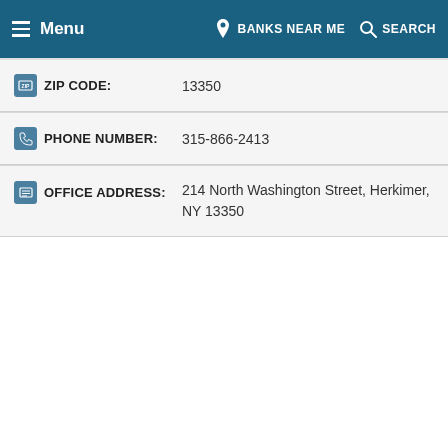Menu | BANKS NEAR ME | SEARCH
ZIP CODE: 13350
PHONE NUMBER: 315-866-2413
OFFICE ADDRESS: 214 North Washington Street, Herkimer, NY 13350